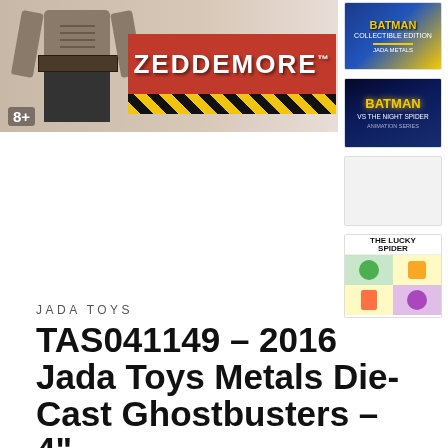[Figure (photo): Jada Toys Zeddemore Ghostbusters action figure packaging box showing a character in grey outfit with red banner reading ZEDDEMORE and yellow/black hazard stripe, age rating 8+]
[Figure (photo): Batman collectible thumbnail image - Batman Returns style blue and yellow themed]
[Figure (photo): Batman vs The Night Spider animation show thumbnail - dark blue background with yellow Batman logo]
[Figure (photo): Blank/loading thumbnail placeholder]
[Figure (photo): The Lucky Spider comic/toy thumbnail with colorful grid of cartoon characters]
JADA TOYS
TAS041149 - 2016 Jada Toys Metals Die-Cast Ghostbusters - 4"